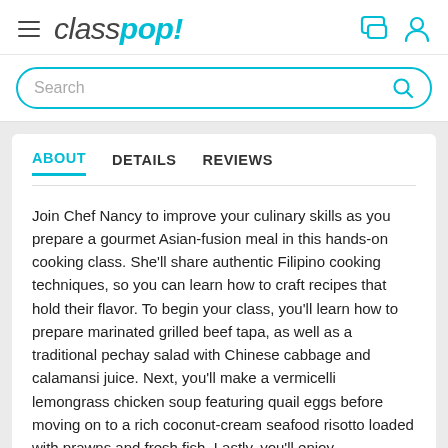classpop!
Search
ABOUT   DETAILS   REVIEWS
Join Chef Nancy to improve your culinary skills as you prepare a gourmet Asian-fusion meal in this hands-on cooking class. She'll share authentic Filipino cooking techniques, so you can learn how to craft recipes that hold their flavor. To begin your class, you'll learn how to prepare marinated grilled beef tapa, as well as a traditional pechay salad with Chinese cabbage and calamansi juice. Next, you'll make a vermicelli lemongrass chicken soup featuring quail eggs before moving on to a rich coconut-cream seafood risotto loaded with prawns and fresh fish. Lastly, you'll enjoy